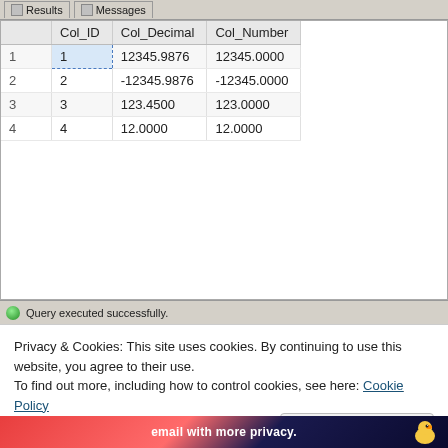Results   Messages
|  | Col_ID | Col_Decimal | Col_Number |
| --- | --- | --- | --- |
| 1 | 1 | 12345.9876 | 12345.0000 |
| 2 | 2 | -12345.9876 | -12345.0000 |
| 3 | 3 | 123.4500 | 123.0000 |
| 4 | 4 | 12.0000 | 12.0000 |
Query executed successfully.
Privacy & Cookies: This site uses cookies. By continuing to use this website, you agree to their use.
To find out more, including how to control cookies, see here: Cookie Policy
Close and accept
email with more privacy.